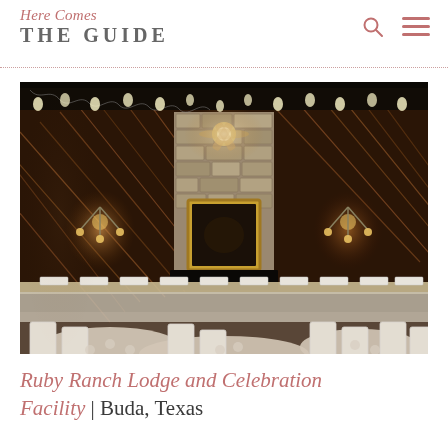Here Comes THE GUIDE
[Figure (photo): Interior of Ruby Ranch Lodge showing rustic wooden diagonal plank walls, a stone fireplace with a gilded mirror, string lights along dark ceiling beams, warm candlelight chandeliers, and white folding chairs with round tables set for a reception.]
Ruby Ranch Lodge and Celebration Facility | Buda, Texas